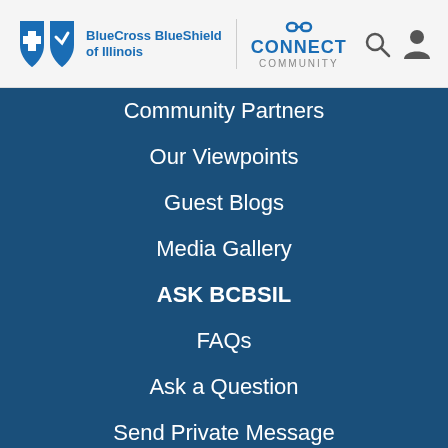[Figure (logo): BlueCross BlueShield of Illinois logo with shield icons, Connect Community logo, search and user icons in page header]
Community Partners
Our Viewpoints
Guest Blogs
Media Gallery
ASK BCBSIL
FAQs
Ask a Question
Send Private Message
Visit BCBSIL.com
MEDICARE